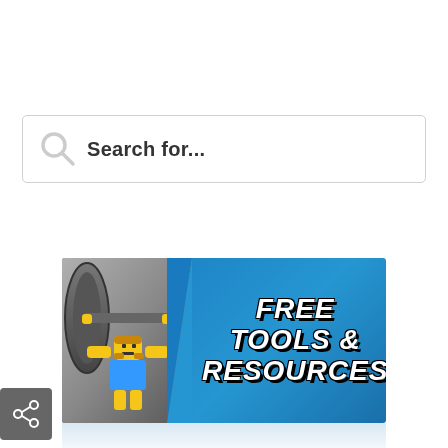[Figure (screenshot): A search input box with a magnifying glass icon on the left and placeholder text 'Search for...' in bold]
[Figure (illustration): A banner advertisement with a LEGO-style weightlifter figure on the left against a gray/silver background, and bold italic white text reading 'FREE TOOLS & RESOURCES' on a blue background on the right. The banner is partially visible with a reflection/fade at the bottom.]